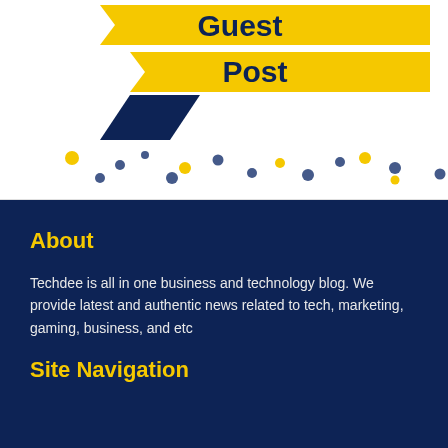[Figure (illustration): Guest Post ribbon banner illustration with yellow ribbon strips showing 'Guest Post' text in dark navy, with a dark navy arrow/pointer shape below. Decorative dots pattern in yellow and blue below the ribbon.]
About
Techdee is all in one business and technology blog. We provide latest and authentic news related to tech, marketing, gaming, business, and etc
Site Navigation